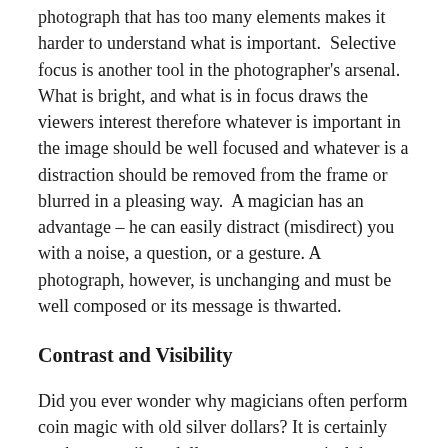photograph that has too many elements makes it harder to understand what is important.  Selective focus is another tool in the photographer's arsenal. What is bright, and what is in focus draws the viewers interest therefore whatever is important in the image should be well focused and whatever is a distraction should be removed from the frame or blurred in a pleasing way.  A magician has an advantage – he can easily distract (misdirect) you with a noise, a question, or a gesture. A photograph, however, is unchanging and must be well composed or its message is thwarted.
Contrast and Visibility
Did you ever wonder why magicians often perform coin magic with old silver dollars? It is certainly not because silver dollars are more magical than a US dime, but the old US silver dollars are much larger – and thus easier to see. In photography making your subject stand out from the background is the analog of the magician's large coin. Indeed